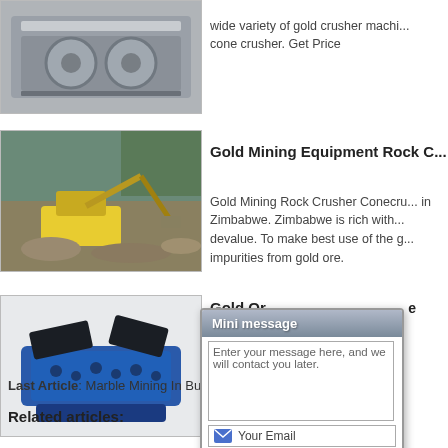[Figure (photo): Industrial crusher machine with cylindrical components, grey metal equipment]
wide variety of gold crusher machi... cone crusher. Get Price
[Figure (photo): Excavator working at an open-pit mining site with rock piles]
Gold Mining Equipment Rock C...
Gold Mining Rock Crusher Conecru... in Zimbabwe. Zimbabwe is rich with... devalue. To make best use of the g... impurities from gold ore.
[Figure (photo): Blue and black heavy-duty ore crusher machine]
Gold Ore Miningdustry St...
Gold Ore ... crushing ... manufactu... zhengzho...
[Figure (screenshot): Mini message popup dialog with text area, email and phone fields, and Email Us / Send buttons]
Last Article: Marble Mining In Buner Pakista... Sa...
Related articles: